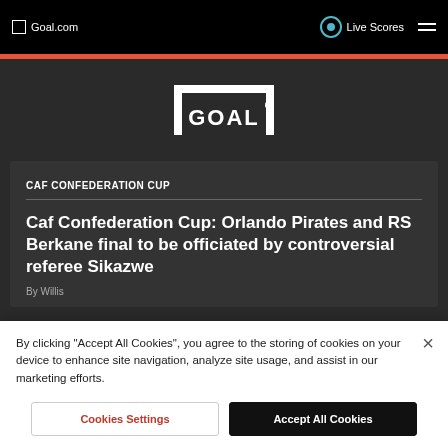Goal.com | Live Scores
[Figure (logo): GOAL logo in white on dark background, stylized goal post shape]
CAF CONFEDERATION CUP
Caf Confederation Cup: Orlando Pirates and RS Berkane final to be officiated by controversial referee Sikazwe
By clicking "Accept All Cookies", you agree to the storing of cookies on your device to enhance site navigation, analyze site usage, and assist in our marketing efforts.
Cookies Settings | Accept All Cookies